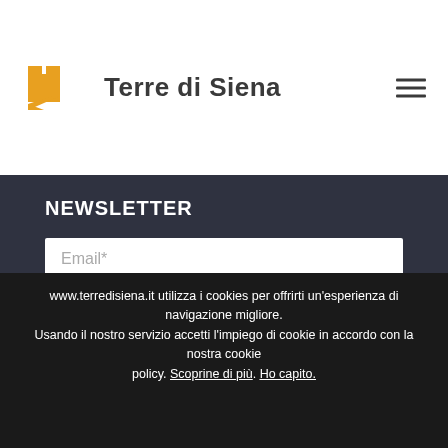Terre di Siena
NEWSLETTER
Email*
Accept the Privacy *
Iscriviti / Sign up
THE 9 MUNICIPALITIES
www.terredisiena.it utilizza i cookies per offrirti un'esperienza di navigazione migliore. Usando il nostro servizio accetti l'impiego di cookie in accordo con la nostra cookie policy. Scoprine di più. Ho capito.